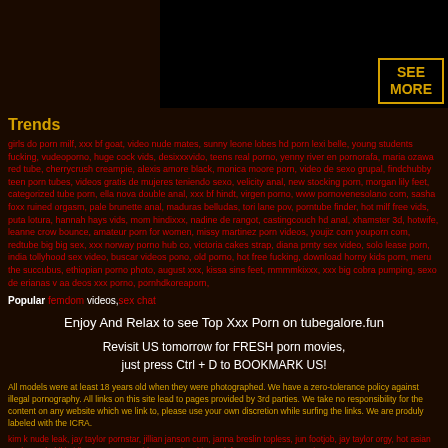[Figure (other): Dark thumbnail image with SEE MORE button in gold border]
Trends
girls do porn milf, xxx bf goat, video nude mates, sunny leone lobes hd porn lexi belle, young students fucking, vudeoporno, huge cock vids, desixxxvido, teens real porno, yenny river en pornorafa, maria ozawa red tube, cherrycrush creampie, alexis amore black, monica moore porn, video de sexo grupal, findchubby teen porn tubes, videos gratis de mujeres teniendo sexo, velicity anal, new stocking porn, morgan lily feet, categorized tube porn, ella nova double anal, xxx bf hindt, virgen porno, www pornovenesolano com, sasha foxx ruined orgasm, pale brunette anal, maduras belludas, tori lane pov, porntube finder, hot milf free vids, puta lotura, hannah hays vids, mom hindixxx, nadine de rangot, castingcouch hd anal, xhamster 3d, hotwife, leanne crow bounce, amateur porn for women, missy martinez porn videos, youjiz com youporn com, redtube big big sex, xxx norway porno hub co, victoria cakes strap, diana prnty sex video, solo lease porn, india tollyhood sex video, buscar videos pono, old porno, hot free fucking, download horny kids porn, meru the succubus, ethiopian porno photo, august xxx, kissa sins feet, mmmmkixxx, xxx big cobra pumping, sexo de erianas v aa deos xxx porno, pornhdkoreaporn,
Popular femdom videos,sex chat
Enjoy And Relax to see Top Xxx Porn on tubegalore.fun
Revisit US tomorrow for FRESH porn movies, just press Ctrl + D to BOOKMARK US!
All models were at least 18 years old when they were photographed. We have a zero-tolerance policy against illegal pornography. All links on this site lead to pages provided by 3rd parties. We take no responsibility for the content on any website which we link to, please use your own discretion while surfing the links. We are produly labeled with the ICRA.
kim k nude leak, jay taylor pornstar, jillian janson cum, janna breslin topless, jun footjob, jay taylor orgy, hot asian sucks cock, kiki vidis pov, XnXX, xVideos,, Mvingokitty onlyfans porn, Xxx, xnxx site, pornxxx.xxx